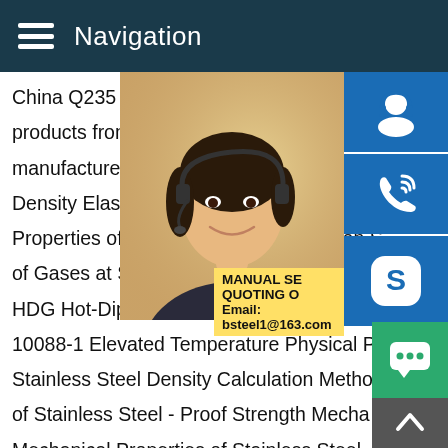Navigation
China Q235 Steel Properties - Select 2020 products from verified China Q235 Steel P manufacturers,suppliers on .Physical Prop
Density Elastic Physical Properties of Stai Properties of Stainless Steel and Carbon S of Gases at Standard Temperature Pressu
HDG Hot-Dip Galvanized Physical Proper
10088-1 Elevated Temperature Physical P
Stainless Steel Density Calculation Metho
of Stainless Steel - Proof Strength Mecha
Mechanical Properties of Stainless Steel Aluminum Pipes
Mechanical Properties Definition Of Mechanical Properties Physical
Properties of Stainless Steel Metals listed in order of their properties Physical Properties of Stainless Steel and Carbon S
Mechanical Properties of High Temperature Corrosion Resista
MANUAL SE
QUOTING O
Email: bsteel1@163.com
[Figure (photo): Customer service representative woman with headset, smiling]